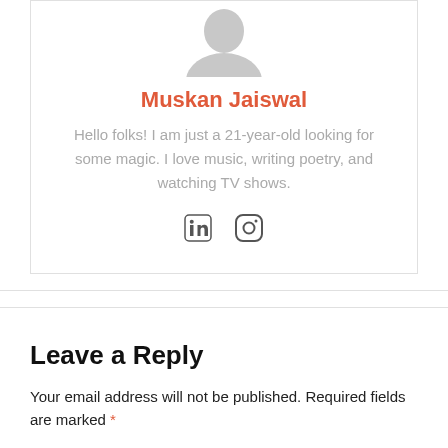[Figure (illustration): Gray silhouette avatar of a person, top portion visible]
Muskan Jaiswal
Hello folks! I am just a 21-year-old looking for some magic. I love music, writing poetry, and watching TV shows.
[Figure (infographic): LinkedIn and Instagram social media icons]
Leave a Reply
Your email address will not be published. Required fields are marked *
Comment *